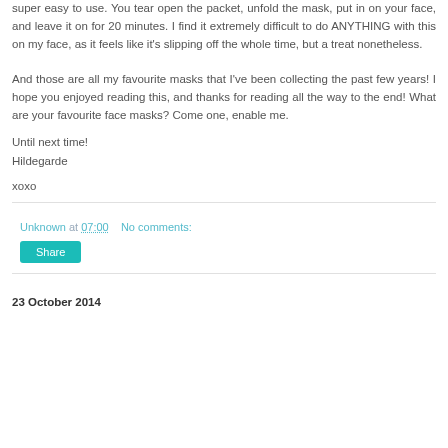super easy to use. You tear open the packet, unfold the mask, put in on your face, and leave it on for 20 minutes. I find it extremely difficult to do ANYTHING with this on my face, as it feels like it's slipping off the whole time, but a treat nonetheless.
And those are all my favourite masks that I've been collecting the past few years! I hope you enjoyed reading this, and thanks for reading all the way to the end! What are your favourite face masks? Come one, enable me.
Until next time!
Hildegarde
xoxo
Unknown at 07:00    No comments:
Share
23 October 2014